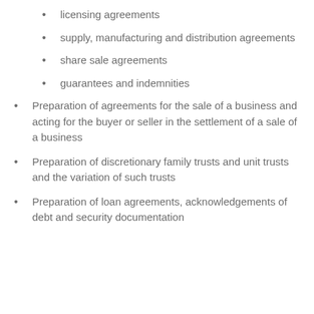licensing agreements
supply, manufacturing and distribution agreements
share sale agreements
guarantees and indemnities
Preparation of agreements for the sale of a business and acting for the buyer or seller in the settlement of a sale of a business
Preparation of discretionary family trusts and unit trusts and the variation of such trusts
Preparation of loan agreements, acknowledgements of debt and security documentation